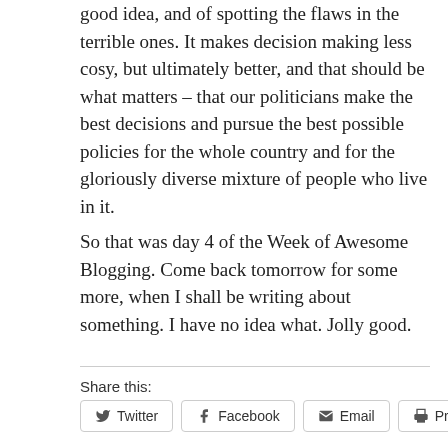good idea, and of spotting the flaws in the terrible ones. It makes decision making less cosy, but ultimately better, and that should be what matters – that our politicians make the best decisions and pursue the best possible policies for the whole country and for the gloriously diverse mixture of people who live in it.
So that was day 4 of the Week of Awesome Blogging. Come back tomorrow for some more, when I shall be writing about something. I have no idea what. Jolly good.
Share this: